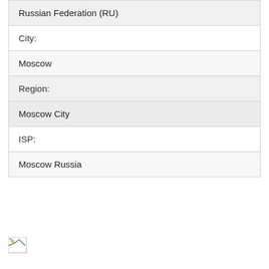| Russian Federation (RU) |
| City: |
| Moscow |
| Region: |
| Moscow City |
| ISP: |
| Moscow Russia |
[Figure (other): Broken/missing image icon placeholder at the bottom left of the page]